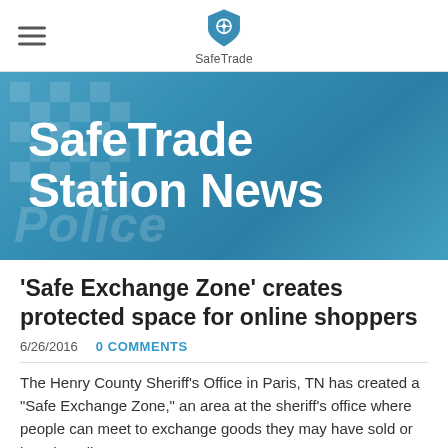SafeTrade
SafeTrade Station News
‘Safe Exchange Zone’ creates protected space for online shoppers
6/26/2016   0 COMMENTS
The Henry County Sheriff’s Office in Paris, TN has created a “Safe Exchange Zone,” an area at the sheriff’s office where people can meet to exchange goods they may have sold or bought online.